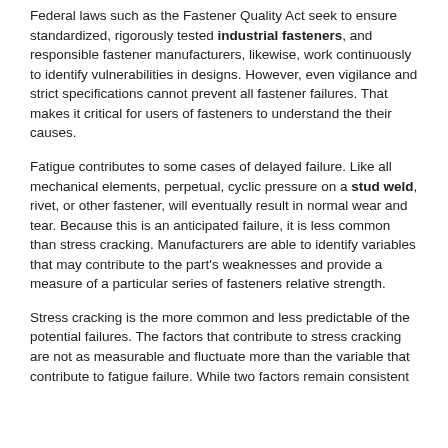Federal laws such as the Fastener Quality Act seek to ensure standardized, rigorously tested industrial fasteners, and responsible fastener manufacturers, likewise, work continuously to identify vulnerabilities in designs. However, even vigilance and strict specifications cannot prevent all fastener failures. That makes it critical for users of fasteners to understand the their causes.
Fatigue contributes to some cases of delayed failure. Like all mechanical elements, perpetual, cyclic pressure on a stud weld, rivet, or other fastener, will eventually result in normal wear and tear. Because this is an anticipated failure, it is less common than stress cracking. Manufacturers are able to identify variables that may contribute to the part's weaknesses and provide a measure of a particular series of fasteners relative strength.
Stress cracking is the more common and less predictable of the potential failures. The factors that contribute to stress cracking are not as measurable and fluctuate more than the variable that contribute to fatigue failure. While two factors remain consistent